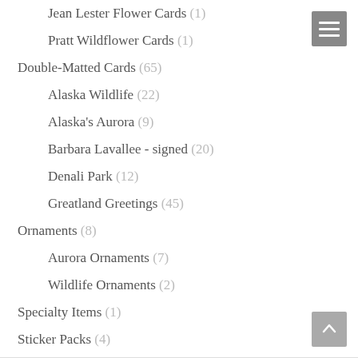Jean Lester Flower Cards (1)
Pratt Wildflower Cards (1)
Double-Matted Cards (65)
Alaska Wildlife (22)
Alaska's Aurora (9)
Barbara Lavallee - signed (20)
Denali Park (12)
Greatland Greetings (45)
Ornaments (8)
Aurora Ornaments (7)
Wildlife Ornaments (2)
Specialty Items (1)
Sticker Packs (4)